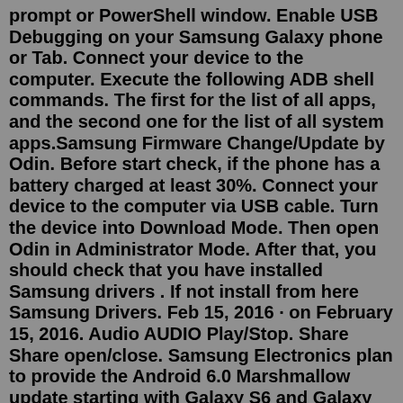prompt or PowerShell window. Enable USB Debugging on your Samsung Galaxy phone or Tab. Connect your device to the computer. Execute the following ADB shell commands. The first for the list of all apps, and the second one for the list of all system apps.Samsung Firmware Change/Update by Odin. Before start check, if the phone has a battery charged at least 30%. Connect your device to the computer via USB cable. Turn the device into Download Mode. Then open Odin in Administrator Mode. After that, you should check that you have installed Samsung drivers . If not install from here Samsung Drivers. Feb 15, 2016 · on February 15, 2016. Audio AUDIO Play/Stop. Share Share open/close. Samsung Electronics plan to provide the Android 6.0 Marshmallow update starting with Galaxy S6 and Galaxy S6 edge on February 15, 2016, and other GALAXY devices will soon follow. For upgradable models, Samsung will make separate announcements on details of OS updates schedule ... Nov 24, 2015 · How to Get Android 6.0.1